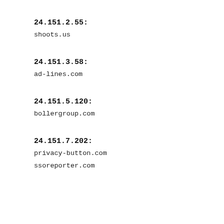24.151.2.55:
shoots.us
24.151.3.58:
ad-lines.com
24.151.5.120:
bollergroup.com
24.151.7.202:
privacy-button.com
ssoreporter.com